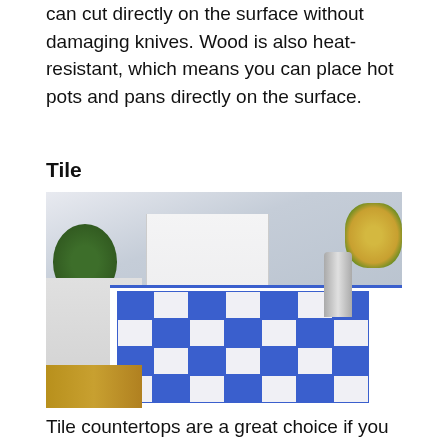can cut directly on the surface without damaging knives. Wood is also heat-resistant, which means you can place hot pots and pans directly on the surface.
Tile
[Figure (photo): A kitchen island with a blue and white checkered tile countertop, a chrome faucet, white refrigerator and cabinets in the background, and a plant on the right side.]
Tile countertops are a great choice if you want something